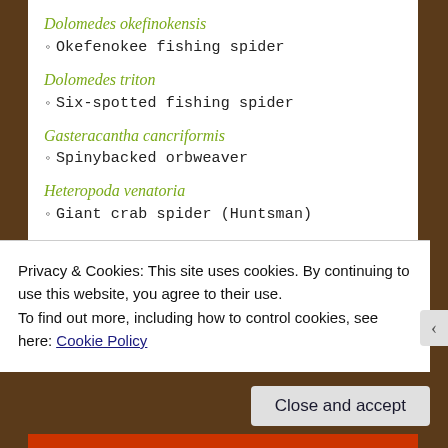Dolomedes okefinokensis
◦ Okefenokee fishing spider
Dolomedes triton
◦ Six-spotted fishing spider
Gasteracantha cancriformis
◦ Spinybacked orbweaver
Heteropoda venatoria
◦ Giant crab spider (Huntsman)
Hogna lenta
◦ Field wolf spider
Kukulcania hibernalis
◦ Southern house spider
Privacy & Cookies: This site uses cookies. By continuing to use this website, you agree to their use.
To find out more, including how to control cookies, see here: Cookie Policy
Close and accept